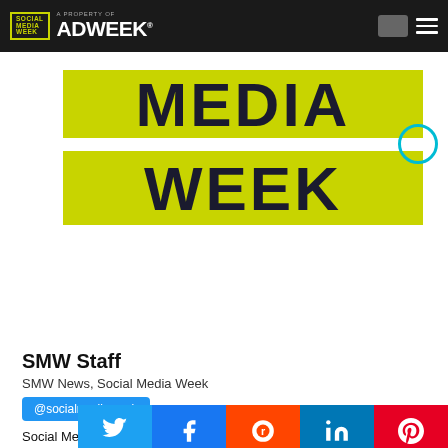SOCIAL MEDIA WEEK — A Property of ADWEEK
[Figure (logo): Social Media Week logo on yellow-green banner showing MEDIA and WEEK text in large bold dark navy letters on chartreuse/yellow-green rectangles]
SMW Staff
SMW News, Social Media Week
@socialmediaweek
Social Media Week is a leading media platform and worldwide event that curates and shares the best ideas, innovations and insights